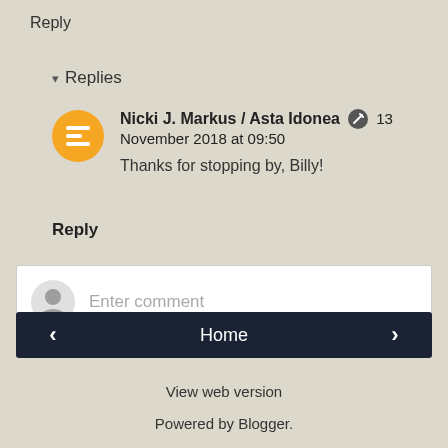Reply
▾ Replies
Nicki J. Markus / Asta Idonea  13 November 2018 at 09:50
Thanks for stopping by, Billy!
Reply
Enter comment
Home
View web version
Powered by Blogger.